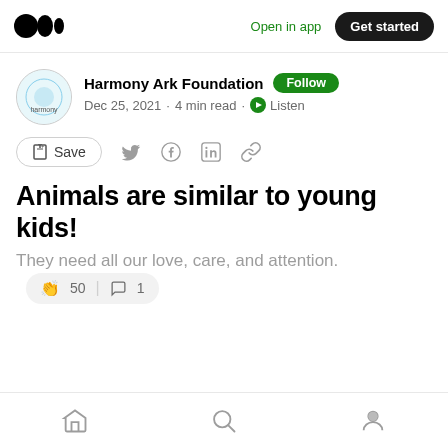Medium logo | Open in app | Get started
Harmony Ark Foundation · Follow · Dec 25, 2021 · 4 min read · Listen
Save (social sharing icons)
Animals are similar to young kids!
They need all our love, care, and attention.
👏 50 | 💬 1
Home | Search | Profile navigation icons